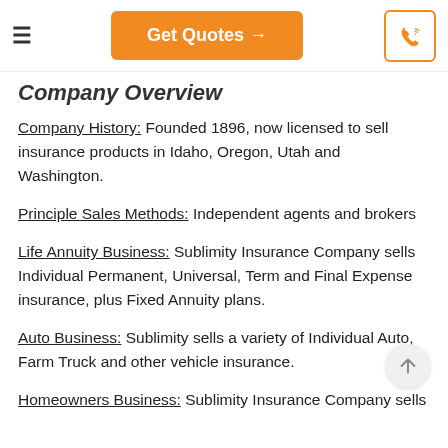Get Quotes →
Company Overview
Company History: Founded 1896, now licensed to sell insurance products in Idaho, Oregon, Utah and Washington.
Principle Sales Methods: Independent agents and brokers
Life Annuity Business: Sublimity Insurance Company sells Individual Permanent, Universal, Term and Final Expense insurance, plus Fixed Annuity plans.
Auto Business: Sublimity sells a variety of Individual Auto, Farm Truck and other vehicle insurance.
Homeowners Business: Sublimity Insurance Company sells a variety of Homeowners, Renters, Condo and other...